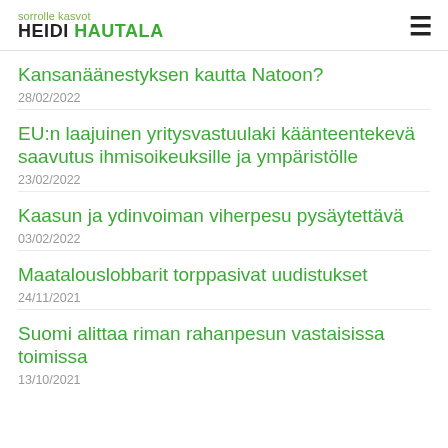sorrolle kasvot HEIDI HAUTALA
Kansanäänestyksen kautta Natoon?
28/02/2022
EU:n laajuinen yritysvastuulaki käänteentekevä saavutus ihmisoikeuksille ja ympäristölle
23/02/2022
Kaasun ja ydinvoiman viherpesu pysäytettävä
03/02/2022
Maatalouslobbarit torppasivat uudistukset
24/11/2021
Suomi alittaa riman rahanpesun vastaisissa toimissa
13/10/2021